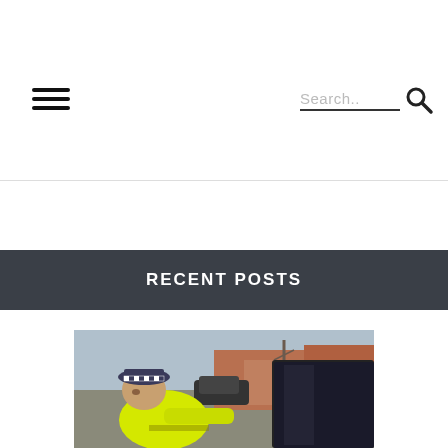RECENT POSTS
[Figure (photo): A police officer in a high-visibility yellow jacket and checkered police hat leaning toward the window of a vehicle on a residential street.]